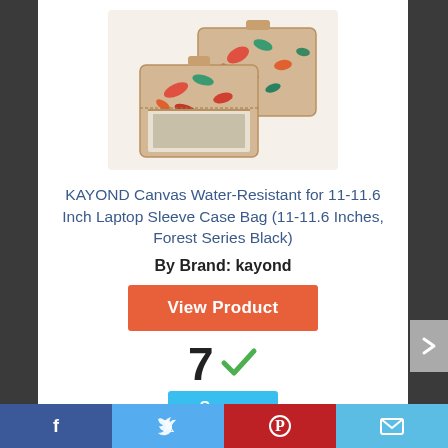[Figure (photo): Two KAYOND canvas laptop sleeve bags with tropical/forest leaf pattern in red, teal, and orange on beige background, one open showing laptop inside]
KAYOND Canvas Water-Resistant for 11-11.6 Inch Laptop Sleeve Case Bag (11-11.6 Inches, Forest Series Black)
By Brand: kayond
View Product
7 ✓ Score